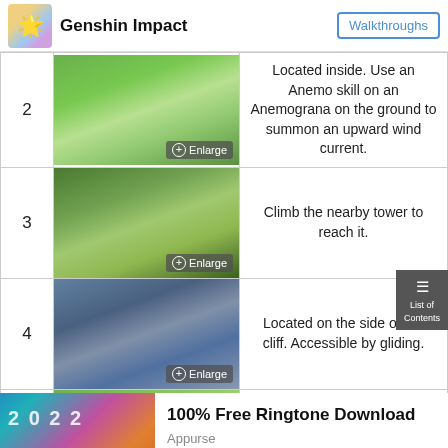Genshin Impact | Walkthroughs
| # | Image | Description |
| --- | --- | --- |
| 2 | [game screenshot] | Located inside. Use an Anemo skill on an Anemograna on the ground to summon an upward wind current. |
| 3 | [game screenshot] | Climb the nearby tower to reach it. |
| 4 | [game screenshot] | Located on the side of the cliff. Accessible by gliding. |
| 5 | [game screenshot] | Atop the small stone pillar. |
[Figure (advertisement): 100% Free Ringtone Download ad banner from Appurse, recommended by Outbrain. Shows colorful 2022 ringtone graphic on the left.]